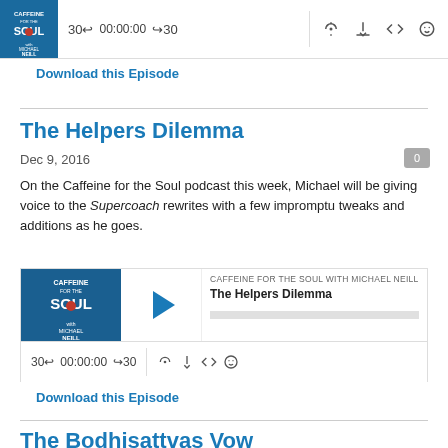[Figure (screenshot): Podcast audio player widget for previous episode with thumbnail, playback controls, time display 00:00:00, skip buttons, and icons]
Download this Episode
The Helpers Dilemma
Dec 9, 2016
On the Caffeine for the Soul podcast this week, Michael will be giving voice to the Supercoach rewrites with a few impromptu tweaks and additions as he goes.
[Figure (screenshot): Podcast audio player widget for The Helpers Dilemma episode with Caffeine for the Soul thumbnail, play button, episode title, progress bar, playback controls]
Download this Episode
The Bodhisattvas Vow
Dec 8, 2016